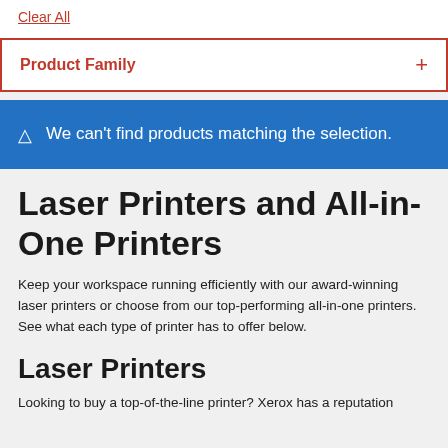Clear All
Product Family
We can't find products matching the selection.
Laser Printers and All-in-One Printers
Keep your workspace running efficiently with our award-winning laser printers or choose from our top-performing all-in-one printers. See what each type of printer has to offer below.
Laser Printers
Looking to buy a top-of-the-line printer? Xerox has a reputation